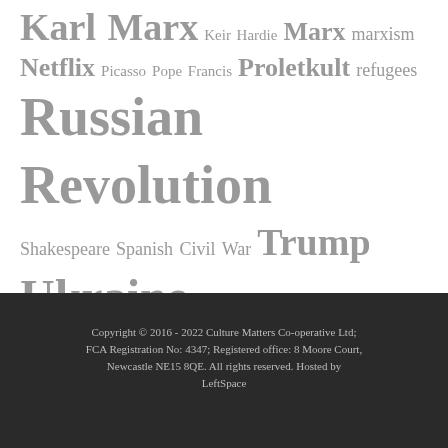Karl Marx Keir Hardie Marx marxism Netflix Picasso Pope Francis Proletkult refugees Russian Revolution Shakespeare Spanish Civil War Trump Ukraine william morris
Copyright © 2016 - 2022 Culture Matters Co-operative Ltd; FCA Registration No: 4347; Registered office: 8 Moore Court, Newcastle NE15 8QE. All rights reserved. Hosted by LeftSpace